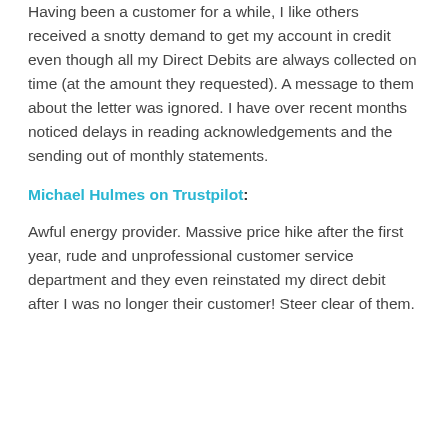Having been a customer for a while, I like others received a snotty demand to get my account in credit even though all my Direct Debits are always collected on time (at the amount they requested). A message to them about the letter was ignored. I have over recent months noticed delays in reading acknowledgements and the sending out of monthly statements.
Michael Hulmes on Trustpilot:
Awful energy provider. Massive price hike after the first year, rude and unprofessional customer service department and they even reinstated my direct debit after I was no longer their customer! Steer clear of them.